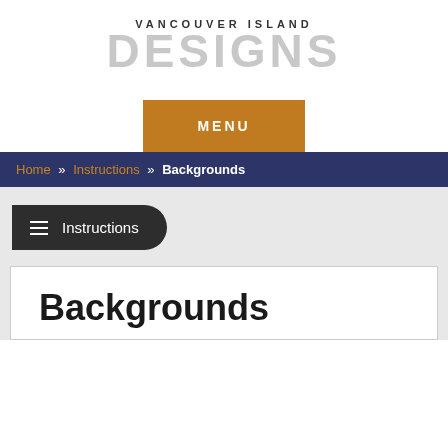[Figure (logo): Vancouver Island Designs logo with small text 'VANCOUVER ISLAND' above large light grey text 'DESIGNS']
MENU
Home » Instructions » Backgrounds
≡ Instructions
Backgrounds